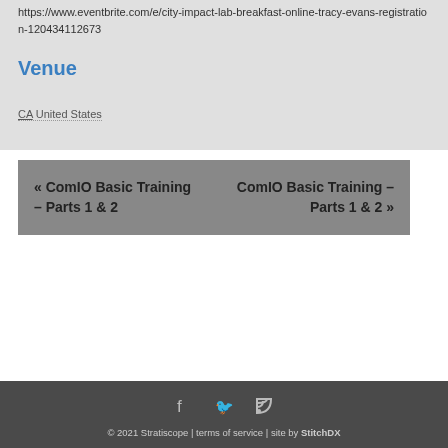https://www.eventbrite.com/e/city-impact-lab-breakfast-online-tracy-evans-registration-120434112673
Venue
CA United States
« ComIO Basic Training – Parts 1 & 2
ComIO Basic Training – Parts 1 & 2 »
© 2021 Stratiscope | terms of service | site by StitchDX